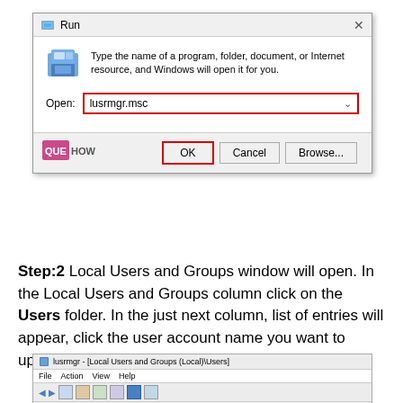[Figure (screenshot): Windows Run dialog box with 'lusrmgr.msc' typed in the Open field. The input field and OK button are highlighted with a red border. Cancel and Browse buttons also visible. QUEHOW logo in bottom-left.]
Step:2 Local Users and Groups window will open. In the Local Users and Groups column click on the Users folder. In the just next column, list of entries will appear, click the user account name you want to update.
[Figure (screenshot): Partial screenshot of lusrmgr - [Local Users and Groups (Local)\Users] window showing title bar, menu bar with File Action View Help, and toolbar icons.]